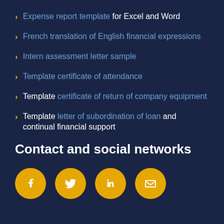Expense report template for Excel and Word
French translation of English financial expressions
Intern assessment letter sample
Template certificate of attendance
Template certificate of return of company equipment
Template letter of subordination of loan and continual financial support
Contact and social networks
[Figure (illustration): Four yellow circular social media icons: Facebook, Twitter, LinkedIn, and Email/envelope]